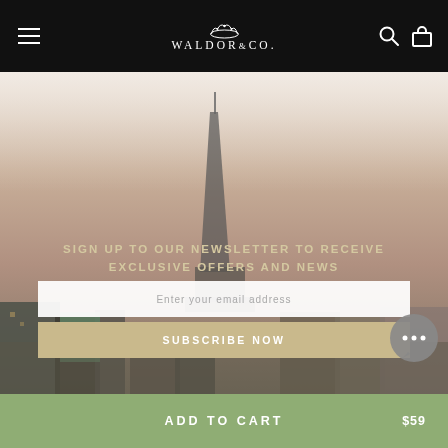WALDOR&CO.
[Figure (photo): Aerial cityscape photo of Stockholm with church spire (Riddarholmen Church) in center, warm brown/grey sky, city buildings visible]
SIGN UP TO OUR NEWSLETTER TO RECEIVE EXCLUSIVE OFFERS AND NEWS
Enter your email address
SUBSCRIBE NOW
ADD TO CART $59